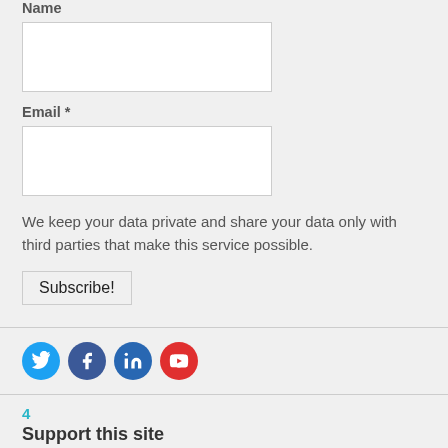Name
Email *
We keep your data private and share your data only with third parties that make this service possible.
Subscribe!
[Figure (infographic): Social media icons: Twitter (blue), Facebook (dark blue), LinkedIn (blue), YouTube (red)]
4
Support this site
Use this Amazon link to make purchases and a small percentage